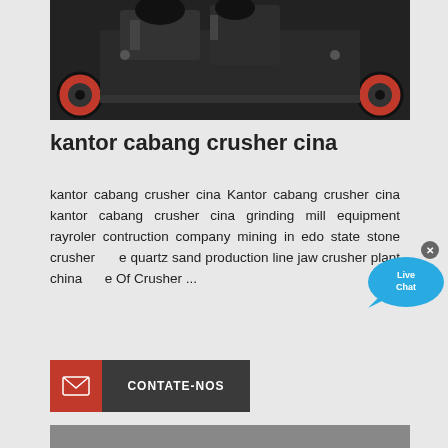[Figure (photo): Industrial crusher machine with red wheels and black mechanical components on dark background]
kantor cabang crusher cina
kantor cabang crusher cina Kantor cabang crusher cina kantor cabang crusher cina grinding mill equipment rayroler contruction company mining in edo state stone crusher for quartz sand production line jaw crusher plant china use Of Crusher ...
[Figure (other): Live Chat bubble widget with close button]
[Figure (other): Contact button with red mail icon and dark label CONTATE-NOS]
[Figure (photo): Stone crusher plant facility with cone crusher in foreground and blue machinery in background]